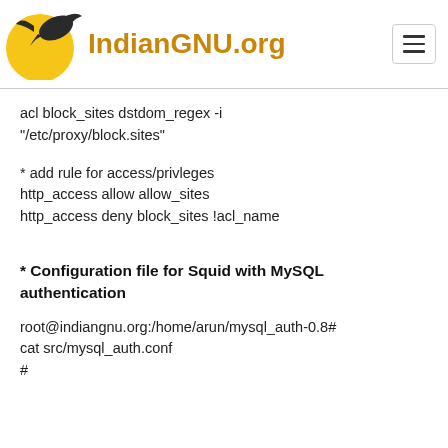IndianGNU.org
acl block_sites dstdom_regex -i "/etc/proxy/block.sites"
* add rule for access/privleges
http_access allow allow_sites
http_access deny block_sites !acl_name
* Configuration file for Squid with MySQL authentication
root@indiangnu.org:/home/arun/mysql_auth-0.8# cat src/mysql_auth.conf
#